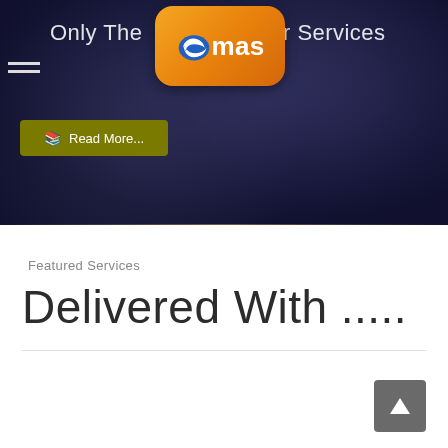[Figure (screenshot): Website hero section with dark navy background. Contains emas logo (orange rounded rectangle with swoosh and white text), hamburger menu icon, title text 'Only The... m Our Services', and a dark olive/yellow 'Read More...' button with book icon.]
Featured Services
Delivered With .....